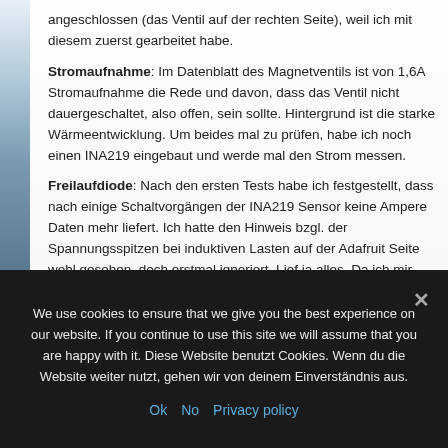angeschlossen (das Ventil auf der rechten Seite), weil ich mit diesem zuerst gearbeitet habe.
Stromaufnahme: Im Datenblatt des Magnetventils ist von 1,6A Stromaufnahme die Rede und davon, dass das Ventil nicht dauergeschaltet, also offen, sein sollte. Hintergrund ist die starke Wärmeentwicklung. Um beides mal zu prüfen, habe ich noch einen INA219 eingebaut und werde mal den Strom messen.
Freilaufdiode: Nach den ersten Tests habe ich festgestellt, dass nach einige Schaltvorgängen der INA219 Sensor keine Ampere Daten mehr liefert. Ich hatte den Hinweis bzgl. der Spannungsspitzen bei induktiven Lasten auf der Adafruit Seite wohl gesehen, doch erstmal ignoriert. Lief ja alles. Da ich mir aber gut vorstellen kann, dass die Spule nach dem Abschalten eine
We use cookies to ensure that we give you the best experience on our website. If you continue to use this site we will assume that you are happy with it. Diese Website benutzt Cookies. Wenn du die Website weiter nutzt, gehen wir von deinem Einverständnis aus.
Ok   No   Privacy policy